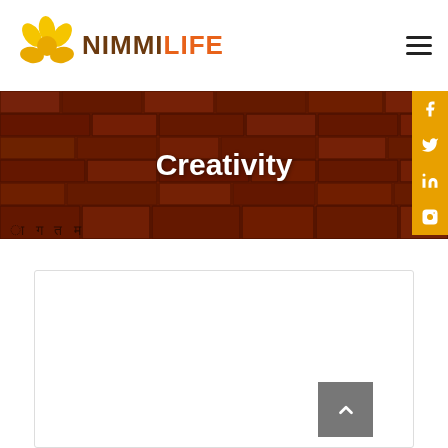[Figure (logo): NimmiLife logo with yellow flower petals and text NIMMI in brown, LIFE in orange]
[Figure (photo): Banner with dark reddish-brown brick/stone wall with ancient script carvings, titled Creativity in white text]
[Figure (infographic): Social media icons (Facebook, Twitter, LinkedIn, Instagram) on gold circular buttons on the right edge]
[Figure (screenshot): White content card area at bottom of page with a grey back-to-top chevron button]